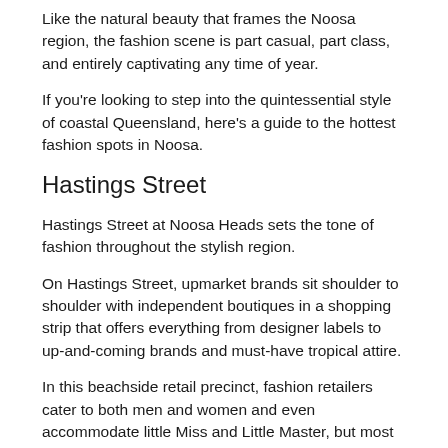Like the natural beauty that frames the Noosa region, the fashion scene is part casual, part class, and entirely captivating any time of year.
If you're looking to step into the quintessential style of coastal Queensland, here's a guide to the hottest fashion spots in Noosa.
Hastings Street
Hastings Street at Noosa Heads sets the tone of fashion throughout the stylish region.
On Hastings Street, upmarket brands sit shoulder to shoulder with independent boutiques in a shopping strip that offers everything from designer labels to up-and-coming brands and must-have tropical attire.
In this beachside retail precinct, fashion retailers cater to both men and women and even accommodate little Miss and Little Master, but most importantly the labels